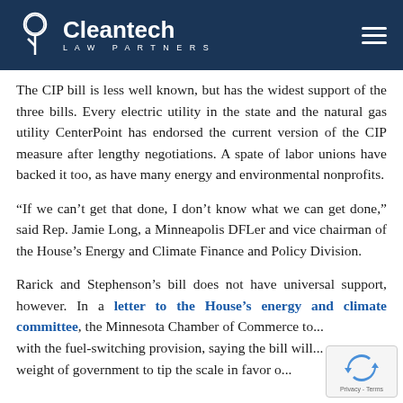Cleantech Law Partners
The CIP bill is less well known, but has the widest support of the three bills. Every electric utility in the state and the natural gas utility CenterPoint has endorsed the current version of the CIP measure after lengthy negotiations. A spate of labor unions have backed it too, as have many energy and environmental nonprofits.
“If we can’t get that done, I don’t know what we can get done,” said Rep. Jamie Long, a Minneapolis DFLer and vice chairman of the House’s Energy and Climate Finance and Policy Division.
Rarick and Stephenson’s bill does not have universal support, however. In a letter to the House’s energy and climate committee, the Minnesota Chamber of Commerce to... with the fuel-switching provision, saying the bill will... weight of government to tip the scale in favor of certain...